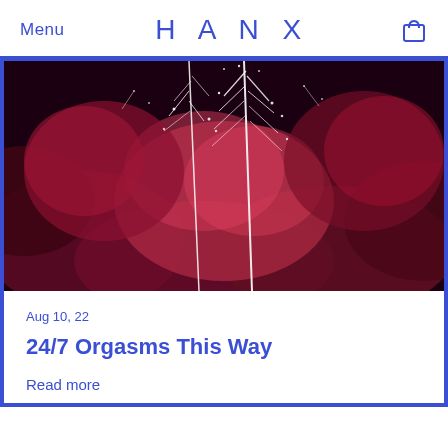Menu  HANX
[Figure (photo): Close-up photo of fireworks exploding against a dark sky, with pink and red hues from smoke and sparks, white streaks of fireworks trails visible.]
Aug 10, 22
24/7 Orgasms This Way
Read more